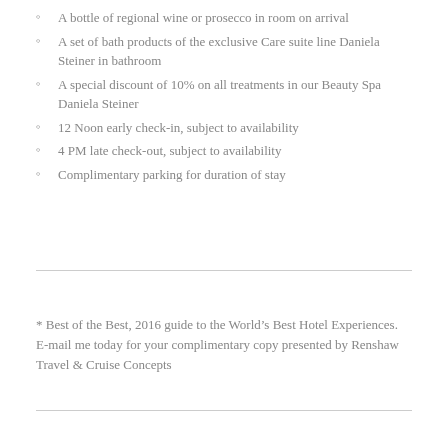A bottle of regional wine or prosecco in room on arrival
A set of bath products of the exclusive Care suite line Daniela Steiner in bathroom
A special discount of 10% on all treatments in our Beauty Spa Daniela Steiner
12 Noon early check-in, subject to availability
4 PM late check-out, subject to availability
Complimentary parking for duration of stay
* Best of the Best, 2016 guide to the World's Best Hotel Experiences. E-mail me today for your complimentary copy presented by Renshaw Travel & Cruise Concepts